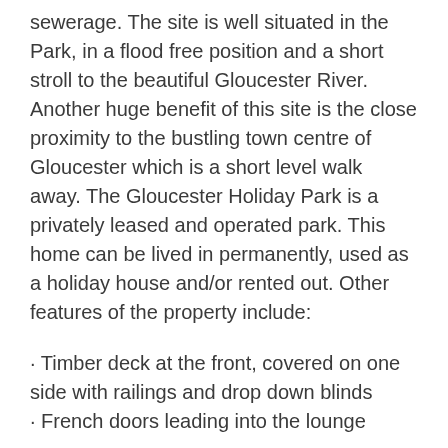sewerage. The site is well situated in the Park, in a flood free position and a short stroll to the beautiful Gloucester River. Another huge benefit of this site is the close proximity to the bustling town centre of Gloucester which is a short level walk away. The Gloucester Holiday Park is a privately leased and operated park. This home can be lived in permanently, used as a holiday house and/or rented out. Other features of the property include:
· Timber deck at the front, covered on one side with railings and drop down blinds
· French doors leading into the lounge